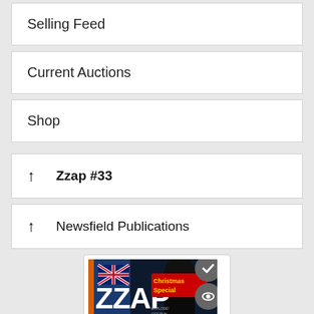Selling Feed
Current Auctions
Shop
↑  Zzap #33
↑  Newsfield Publications
[Figure (photo): A Zzap 64 Christmas Special magazine cover showing a British flag logo, the Zzap 64 title text, and a Star Wars-style dark figure with a muscular hero in the foreground. Two circular badges are overlaid: a grey checkmark badge and a grey eye/search badge.]